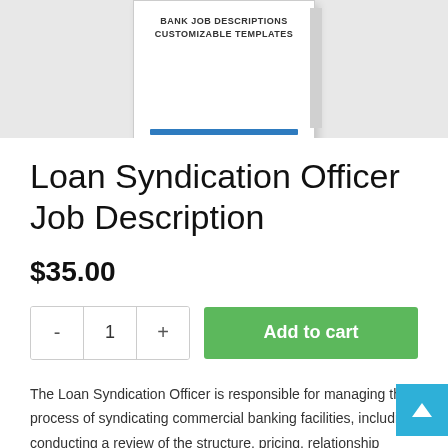[Figure (photo): Book cover image showing 'BANK JOB DESCRIPTIONS CUSTOMIZABLE TEMPLATES' with a blue bar, displayed on a gray background]
Loan Syndication Officer Job Description
$35.00
Add to cart
The Loan Syndication Officer is responsible for managing the process of syndicating commercial banking facilities, including conducting a review of the structure, pricing, relationship management, borrower expectations, production of Bank